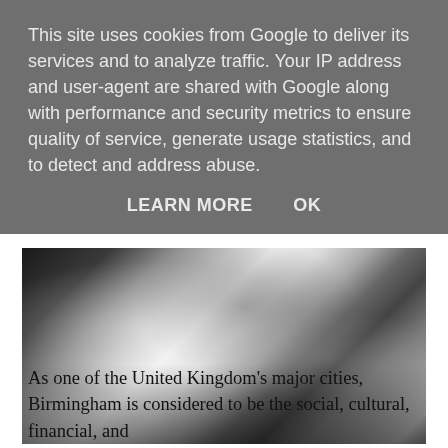This site uses cookies from Google to deliver its services and to analyze traffic. Your IP address and user-agent are shared with Google along with performance and security metrics to ensure quality of service, generate usage statistics, and to detect and address abuse.
LEARN MORE   OK
[Figure (photo): Black and white photograph of Princess Diana arriving to officially open Acorns Children's Hospice, December 1988. Shows a crowd scene with people from behind.]
Princess Diana arrives to officially open Acorns Children's Hospice, December 1988.
As one of the United Kingdom's major cities, Birmingham is considered to be the social, cultural, financial, and